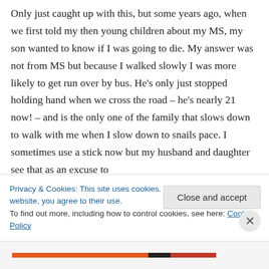Only just caught up with this, but some years ago, when we first told my then young children about my MS, my son wanted to know if I was going to die. My answer was not from MS but because I walked slowly I was more likely to get run over by bus. He's only just stopped holding hand when we cross the road – he's nearly 21 now! – and is the only one of the family that slows down to walk with me when I slow down to snails pace. I sometimes use a stick now but my husband and daughter see that as an excuse to
Privacy & Cookies: This site uses cookies. By continuing to use this website, you agree to their use.
To find out more, including how to control cookies, see here: Cookie Policy
Close and accept